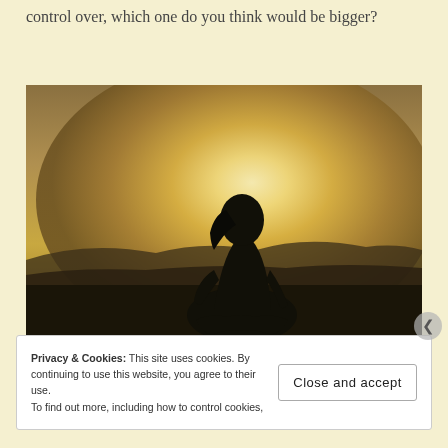control over, which one do you think would be bigger?
[Figure (photo): Silhouette of a person sitting cross-legged in a meditative pose against a golden sunset, with mountains in the background and a bright glowing sun halo behind the figure.]
Privacy & Cookies: This site uses cookies. By continuing to use this website, you agree to their use.
To find out more, including how to control cookies,
Close and accept